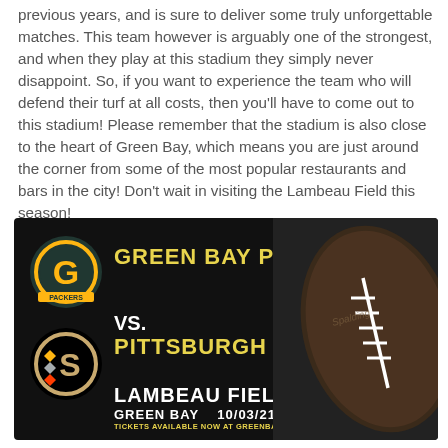previous years, and is sure to deliver some truly unforgettable matches. This team however is arguably one of the strongest, and when they play at this stadium they simply never disappoint. So, if you want to experience the team who will defend their turf at all costs, then you'll have to come out to this stadium! Please remember that the stadium is also close to the heart of Green Bay, which means you are just around the corner from some of the most popular restaurants and bars in the city! Don't wait in visiting the Lambeau Field this season!
[Figure (infographic): Green Bay Packers vs Pittsburgh Steelers game ticket graphic with black background, team logos, yellow team names, venue Lambeau Field, Green Bay, date 10/03/21, tickets URL, and a football image on the right side.]